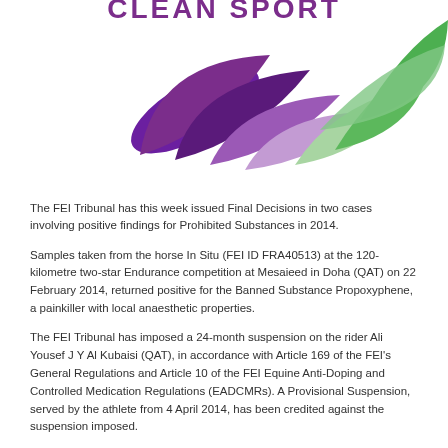[Figure (logo): FEI Clean Sport logo with purple and green leaf motif and partial text 'CLEAN SPORT' in purple/green letters at top]
The FEI Tribunal has this week issued Final Decisions in two cases involving positive findings for Prohibited Substances in 2014.
Samples taken from the horse In Situ (FEI ID FRA40513) at the 120-kilometre two-star Endurance competition at Mesaieed in Doha (QAT) on 22 February 2014, returned positive for the Banned Substance Propoxyphene, a painkiller with local anaesthetic properties.
The FEI Tribunal has imposed a 24-month suspension on the rider Ali Yousef J Y Al Kubaisi (QAT), in accordance with Article 169 of the FEI's General Regulations and Article 10 of the FEI Equine Anti-Doping and Controlled Medication Regulations (EADCMRs). A Provisional Suspension, served by the athlete from 4 April 2014, has been credited against the suspension imposed.